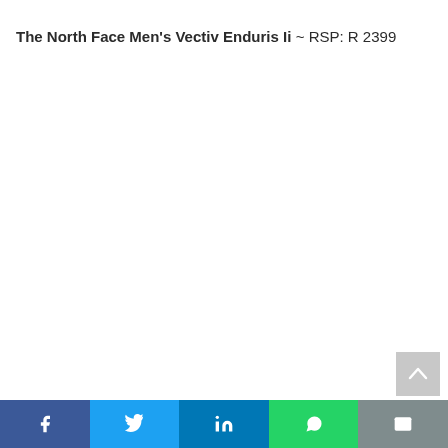The North Face Men's Vectiv Enduris Ii ~ RSP: R 2399
Share buttons: Facebook, Twitter, LinkedIn, WhatsApp, Email